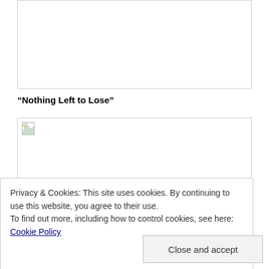[Figure (other): Empty image box with border]
“Nothing Left to Lose”
[Figure (photo): Image box with broken image icon in top-left corner]
Privacy & Cookies: This site uses cookies. By continuing to use this website, you agree to their use.
To find out more, including how to control cookies, see here: Cookie Policy
Close and accept